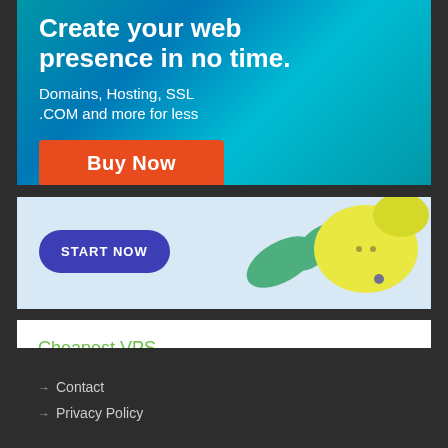[Figure (illustration): Web hosting advertisement banner with teal/blue gradient background. Bold white text reads 'Create your web presence in no time.' with subtitle 'Domains, Hosting, SSL .COM and more for less' and an orange 'Buy Now' button.]
[Figure (illustration): Light blue advertisement banner with 'START NOW' button in purple/indigo rounded rectangle on the left, and illustrated lemons with green leaves on the right side.]
Cheapest VPS
Contact
Privacy Policy